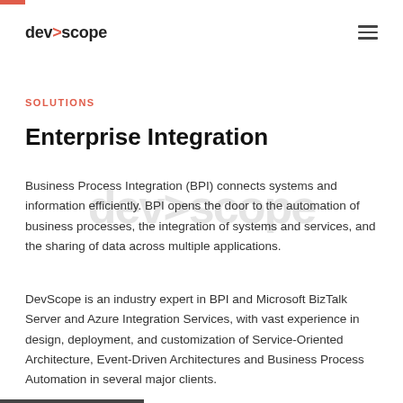dev>scope
SOLUTIONS
Enterprise Integration
Business Process Integration (BPI) connects systems and information efficiently. BPI opens the door to the automation of business processes, the integration of systems and services, and the sharing of data across multiple applications.
DevScope is an industry expert in BPI and Microsoft BizTalk Server and Azure Integration Services, with vast experience in design, deployment, and customization of Service-Oriented Architecture, Event-Driven Architectures and Business Process Automation in several major clients.